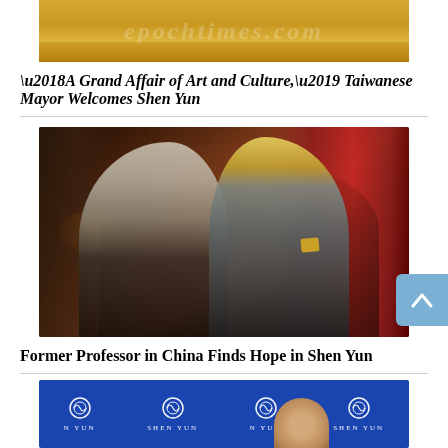[Figure (photo): Partial top image with golden ornate background, appears to be a website header or banner with watermark text]
‘A Grand Affair of Art and Culture,’ Taiwanese Mayor Welcomes Shen Yun
[Figure (photo): Two smiling people at a theater venue — a woman with long blonde hair wearing a patterned jacket, and a man in a grey suit with a yellow tie and gold pocket square, standing in front of red curtains]
Former Professor in China Finds Hope in Shen Yun
[Figure (photo): Partial bottom image of a person in front of a Shen Yun blue banner/backdrop with the Shen Yun logo repeated]